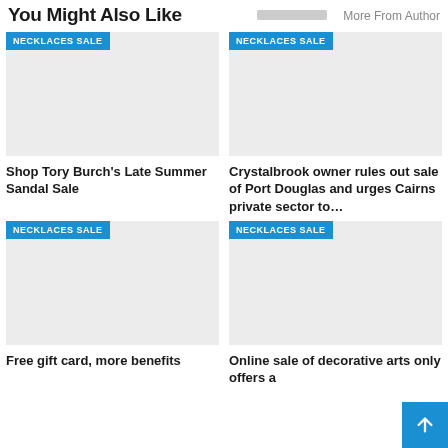You Might Also Like
More From Author
[Figure (photo): Placeholder image with NECKLACES SALE badge - Shop Tory Burch's Late Summer Sandal Sale]
Shop Tory Burch's Late Summer Sandal Sale
[Figure (photo): Placeholder image with NECKLACES SALE badge - Crystalbrook owner rules out sale of Port Douglas and urges Cairns private sector to...]
Crystalbrook owner rules out sale of Port Douglas and urges Cairns private sector to...
[Figure (photo): Placeholder image with NECKLACES SALE badge - Free gift card, more benefits]
Free gift card, more benefits
[Figure (photo): Placeholder image with NECKLACES SALE badge - Online sale of decorative arts only offers a]
Online sale of decorative arts only offers a